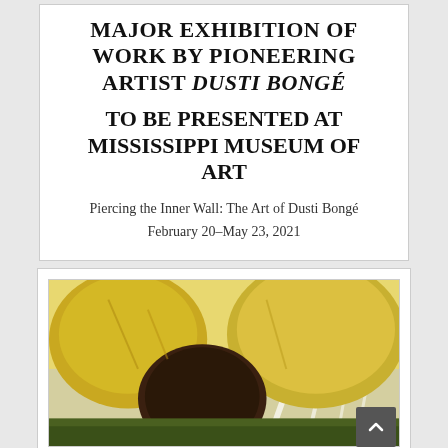MAJOR EXHIBITION OF WORK BY PIONEERING ARTIST DUSTI BONGÉ TO BE PRESENTED AT MISSISSIPPI MUSEUM OF ART
Piercing the Inner Wall: The Art of Dusti Bongé
February 20–May 23, 2021
[Figure (photo): Painting showing yellow and dark round forms resembling sunflowers, with textured brushwork in yellow, brown, and green tones.]